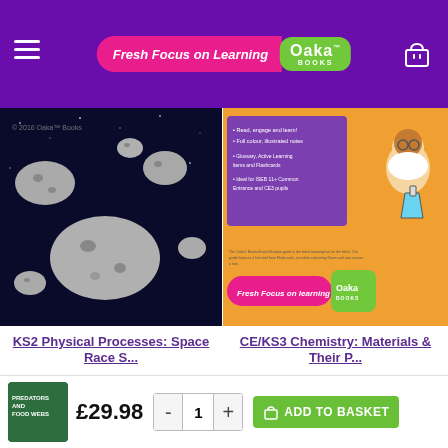[Figure (screenshot): Oaka Books website header with purple background, hamburger menu, 'Fresh Focus on Learning' pink logo, Oaka Books green logo, and shopping cart icon]
[Figure (photo): KS2 Physical Processes Space Race book cover showing asteroids in space]
[Figure (photo): CE/KS3 Chemistry Materials and Their Properties book cover with orange background and scientist illustration]
KS2 Physical Processes: Space Race S...
CE/KS3 Chemistry: Materials & Their P...
AS RECOMMENDED BY
[Figure (logo): Tutorful logo semicircle dark navy]
[Figure (photo): Thumbnail of green book cover]
£29.98
ADD TO BASKET